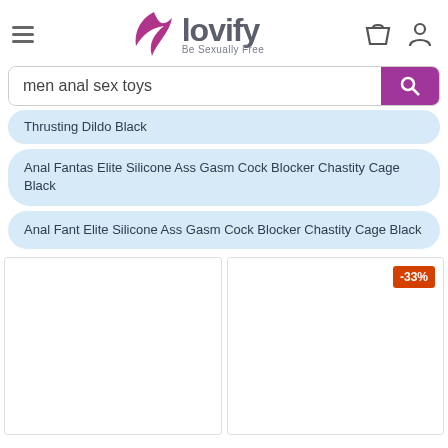lovify — Be Sexually Free
men anal sex toys
Thrusting Dildo Black
Anal Fantas Elite Silicone Ass Gasm Cock Blocker Chastity Cage Black
Anal Fant Elite Silicone Ass Gasm Cock Blocker Chastity Cage Black
[Figure (screenshot): Product card (left) — blank product image, no image shown]
[Figure (screenshot): Product card (right) — blank product image with -33% discount badge in orange-red]